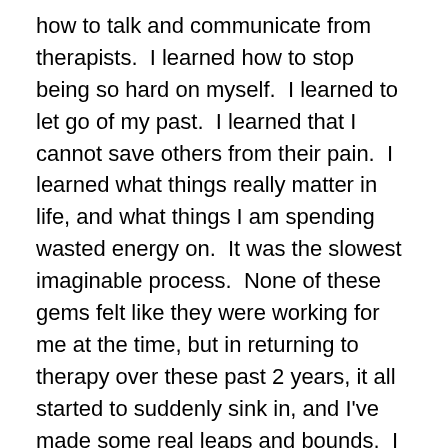how to talk and communicate from therapists.  I learned how to stop being so hard on myself.  I learned to let go of my past.  I learned that I cannot save others from their pain.  I learned what things really matter in life, and what things I am spending wasted energy on.  It was the slowest imaginable process.  None of these gems felt like they were working for me at the time, but in returning to therapy over these past 2 years, it all started to suddenly sink in, and I've made some real leaps and bounds.  I feel grateful for that groundwork I started in my late teens and early twenties, through therapy, even though I could not feel the benefits whatsoever at the time.
Two years ago, I attended a workshop at the Philadelphia Trans-Health Conference called, Who Needs Therapy? Some Thoughts on Mental Health and Gender Variance. It was largely an open discussion format, with a mix of